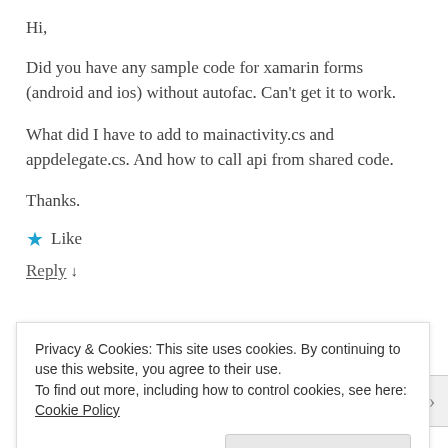Hi,
Did you have any sample code for xamarin forms (android and ios) without autofac. Can't get it to work.
What did I have to add to mainactivity.cs and appdelegate.cs. And how to call api from shared code.
Thanks.
★ Like
Reply ↓
Privacy & Cookies: This site uses cookies. By continuing to use this website, you agree to their use.
To find out more, including how to control cookies, see here: Cookie Policy
Close and accept